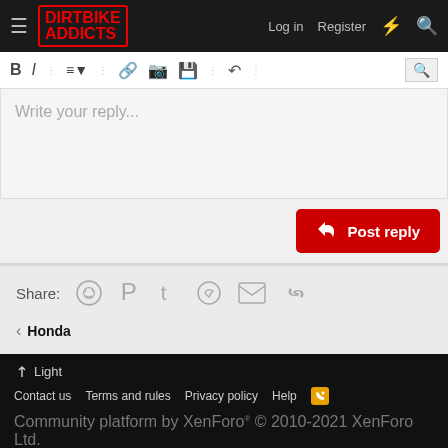Dirt Bike Addicts — Log in  Register
[Figure (screenshot): Forum reply text editor toolbar with bold, italic, list, link, image, and other formatting buttons]
Write your reply...
Post reply
Share:
← Honda
Light
Contact us  Terms and rules  Privacy policy  Help  Community platform by XenForo® © 2010-2021 XenForo Ltd. ©2010-2022 Dirt Bike Addicts, a division of Deft Media Group.